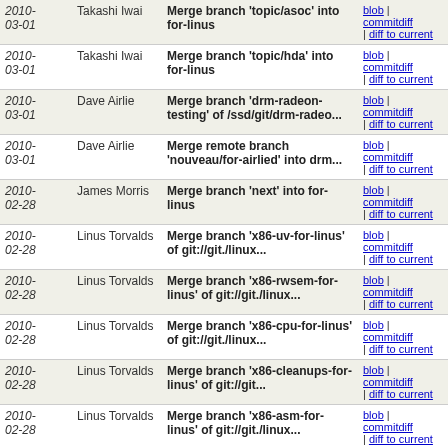| Date | Author | Message | Links |
| --- | --- | --- | --- |
| 2010-03-01 | Takashi Iwai | Merge branch 'topic/asoc' into for-linus | blob | commitdiff | diff to current |
| 2010-03-01 | Takashi Iwai | Merge branch 'topic/hda' into for-linus | blob | commitdiff | diff to current |
| 2010-03-01 | Dave Airlie | Merge branch 'drm-radeon-testing' of /ssd/git/drm-radeo... | blob | commitdiff | diff to current |
| 2010-03-01 | Dave Airlie | Merge remote branch 'nouveau/for-airlied' into drm... | blob | commitdiff | diff to current |
| 2010-02-28 | James Morris | Merge branch 'next' into for-linus | blob | commitdiff | diff to current |
| 2010-02-28 | Linus Torvalds | Merge branch 'x86-uv-for-linus' of git://git./linux... | blob | commitdiff | diff to current |
| 2010-02-28 | Linus Torvalds | Merge branch 'x86-rwsem-for-linus' of git://git./linux... | blob | commitdiff | diff to current |
| 2010-02-28 | Linus Torvalds | Merge branch 'x86-cpu-for-linus' of git://git./linux... | blob | commitdiff | diff to current |
| 2010-02-28 | Linus Torvalds | Merge branch 'x86-cleanups-for-linus' of git://git... | blob | commitdiff | diff to current |
| 2010-02-28 | Linus Torvalds | Merge branch 'x86-asm-for-linus' of git://git./linux... | blob | commitdiff | diff to current |
| 2010- | Linus | Merge branches 'core-ini-for-linus' | blob | |